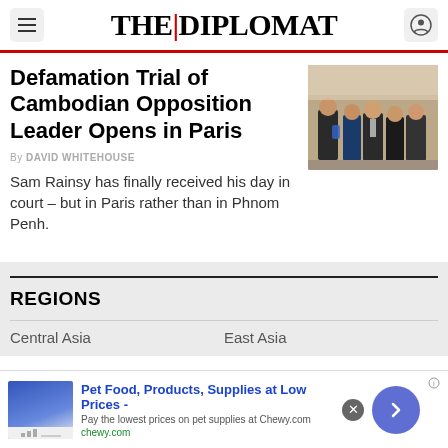THE DIPLOMAT
Defamation Trial of Cambodian Opposition Leader Opens in Paris
By DAVID WHITEHOUSE
Sam Rainsy has finally received his day in court – but in Paris rather than in Phnom Penh.
[Figure (photo): People in formal attire, possibly lawyers or officials, walking together]
REGIONS
Central Asia
East Asia
Pet Food, Products, Supplies at Low Prices - Pay the lowest prices on pet supplies at Chewy.com chewy.com